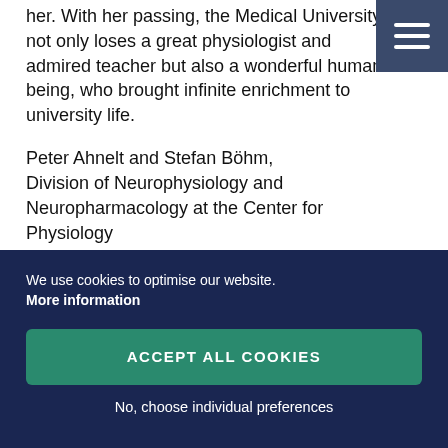her. With her passing, the Medical University not only loses a great physiologist and admired teacher but also a wonderful human being, who brought infinite enrichment to university life.
Peter Ahnelt and Stefan Böhm, Division of Neurophysiology and Neuropharmacology at the Center for Physiology and Pharmacology
We use cookies to optimise our website.
More information
ACCEPT ALL COOKIES
No, choose individual preferences